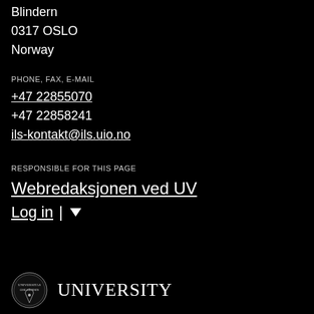Blindern
0317 OSLO
Norway
PHONE, FAX, E-MAIL
+47 22855070
+47 22858241
ils-kontakt@ils.uio.no
RESPONSIBLE FOR THIS PAGE
Webredaksjonen ved UV
Log in
[Figure (logo): University of Oslo seal/logo with circular emblem and text UNIVERSITY]